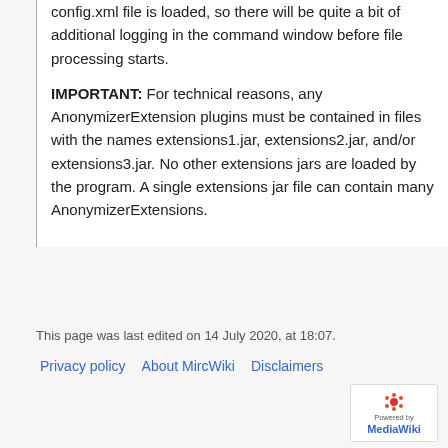config.xml file is loaded, so there will be quite a bit of additional logging in the command window before file processing starts.
IMPORTANT: For technical reasons, any AnonymizerExtension plugins must be contained in files with the names extensions1.jar, extensions2.jar, and/or extensions3.jar. No other extensions jars are loaded by the program. A single extensions jar file can contain many AnonymizerExtensions.
This page was last edited on 14 July 2020, at 18:07.
Privacy policy   About MircWiki   Disclaimers
[Figure (logo): Powered by MediaWiki badge]